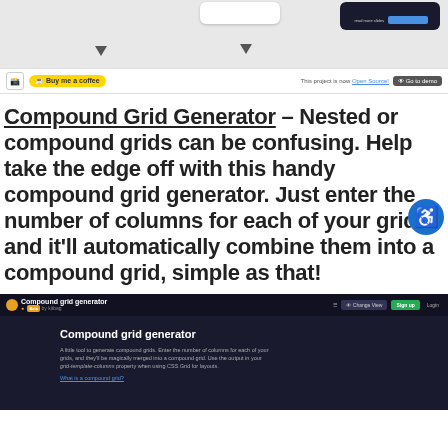[Figure (screenshot): Screenshot of a web UI showing navigation elements, a dark card with blue button, and two playhead/arrow icons on a light gray background]
[Figure (screenshot): Navigation bar with an Instagram icon, a 'Buy me a coffee' button on the left, and links 'This project is now Open Source!' and 'Go to demo' on the right]
Compound Grid Generator – Nested or compound grids can be confusing. Help take the edge off with this handy compound grid generator. Just enter the number of columns for each of your grids, and it'll automatically combine them into a compound grid, simple as that!
[Figure (screenshot): Dark-themed web app screenshot for 'Compound grid generator' showing the app header with logo, beta tag, navigation buttons (Change View, Sign up, Login), and below a title 'Compound grid generator' with descriptive text and a 'What is a compound grid?' link]